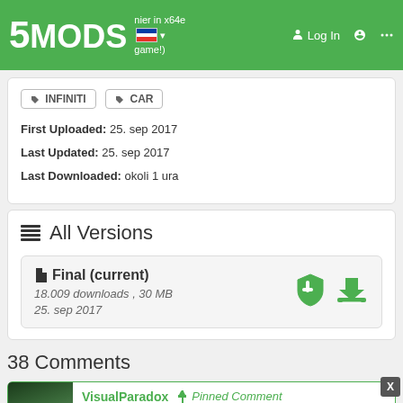5MODS - Log In
INFINITI
CAR
First Uploaded: 25. sep 2017
Last Updated: 25. sep 2017
Last Downloaded: okoli 1 ura
All Versions
Final (current)
18.009 downloads , 30 MB
25. sep 2017
38 Comments
VisualParadox — Pinned Comment
@Exorcist here is an add-on version: